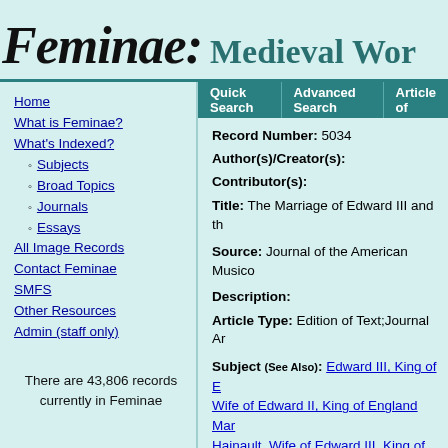Feminae: Medieval Wor
Home
What is Feminae?
What's Indexed?
Subjects
Broad Topics
Journals
Essays
All Image Records
Contact Feminae
SMFS
Other Resources
Admin (staff only)
There are 43,806 records currently in Feminae
Quick Search | Advanced Search | Article of
Record Number: 5034
Author(s)/Creator(s):
Contributor(s):
Title: The Marriage of Edward III and th
Source: Journal of the American Musico
Description:
Article Type: Edition of Text;Journal Ar
Subject (See Also): Edward III, King of E... Wife of Edward II, King of England Mar... Hainault, Wife of Edward III, King of En
Award Note:
Geographic Area: British Isles;France